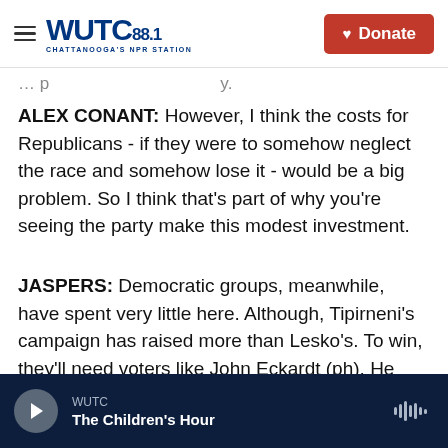WUTC 88.1 Chattanooga's NPR Station | Donate
ALEX CONANT: However, I think the costs for Republicans - if they were to somehow neglect the race and somehow lose it - would be a big problem. So I think that's part of why you're seeing the party make this modest investment.
JASPERS: Democratic groups, meanwhile, have spent very little here. Although, Tipirneni's campaign has raised more than Lesko's. To win, they'll need voters like John Eckardt (ph). He usually votes Republican but is nervous that the GOP might make changes to Medicare and Social
WUTC | The Children's Hour